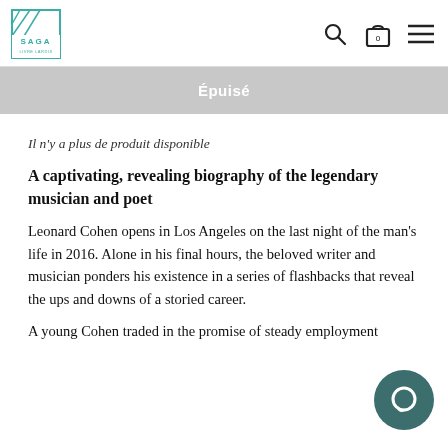SAGA logo, search icon, bag icon (0), menu icon
Épuisé
Il n'y a plus de produit disponible
A captivating, revealing biography of the legendary musician and poet
Leonard Cohen opens in Los Angeles on the last night of the man's life in 2016. Alone in his final hours, the beloved writer and musician ponders his existence in a series of flashbacks that reveal the ups and downs of a storied career.
A young Cohen traded in the promise of steady employment